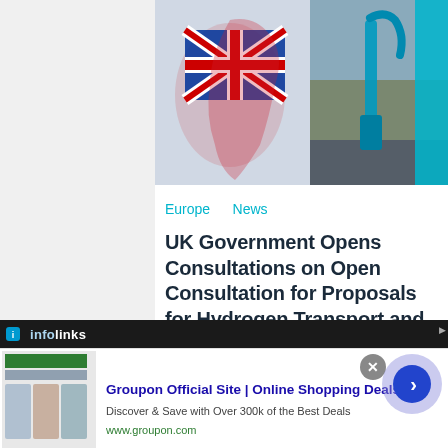[Figure (photo): Article hero image showing a UK flag map silhouette on the left and a fuel pump nozzle on the right with green field background.]
Europe   News
UK Government Opens Consultations on Open Consultation for Proposals for Hydrogen Transport and Storage Business Models
FuelCellsWorks
[Figure (screenshot): Infolinks advertisement bar showing Groupon Official Site | Online Shopping Deals advertisement with thumbnail images, description text 'Discover & Save with Over 300k of the Best Deals', URL www.groupon.com, a close button, and a forward arrow navigation button.]